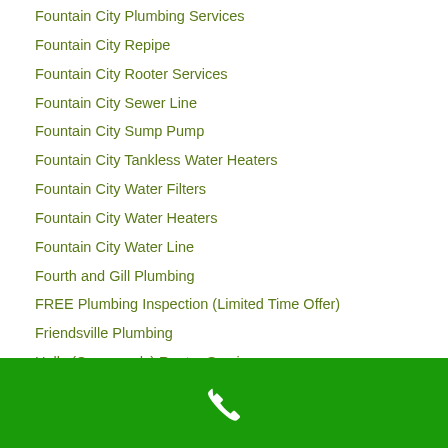Fountain City Plumbing Services
Fountain City Repipe
Fountain City Rooter Services
Fountain City Sewer Line
Fountain City Sump Pump
Fountain City Tankless Water Heaters
Fountain City Water Filters
Fountain City Water Heaters
Fountain City Water Line
Fourth and Gill Plumbing
FREE Plumbing Inspection (Limited Time Offer)
Friendsville Plumbing
Halls (Crossroads) Rooter Services
Halls Drain Cleaning
Halls Emergency Plumbing Service
[Figure (illustration): Green footer bar with white telephone handset icon]